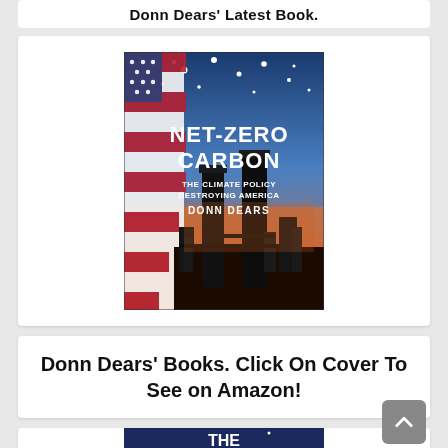Donn Dears' Latest Book.
[Figure (illustration): Book cover for 'Net-Zero Carbon: The Climate Policy Destroying America' by Donn Dears. Cover shows an American flag on the left, industrial smokestacks silhouetted against an orange sunset sky on the bottom, and blue sky with stars at top. Title text 'NET-ZERO CARBON' in large white bold letters, subtitle 'THE CLIMATE POLICY DESTROYING AMERICA' below, and 'DONN DEARS' as author name.]
Donn Dears' Books. Click On Cover To See on Amazon!
[Figure (illustration): Partial view of another book cover by Donn Dears, showing a dark blue background with stars and the word 'THE' in large white letters at the bottom. Only the top portion is visible.]